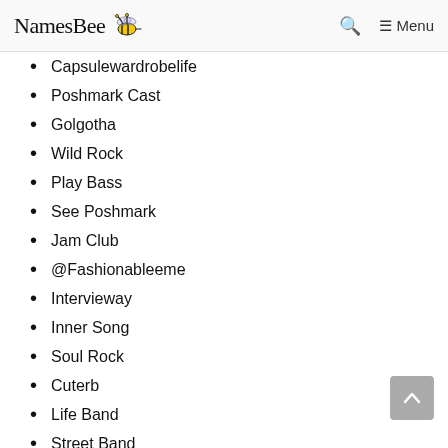NamesBee — Search Menu
Capsulewardrobelife
Poshmark Cast
Golgotha
Wild Rock
Play Bass
See Poshmark
Jam Club
@Fashionableeme
Intervieway
Inner Song
Soul Rock
Cuterb
Life Band
Street Band
Aliana Sears